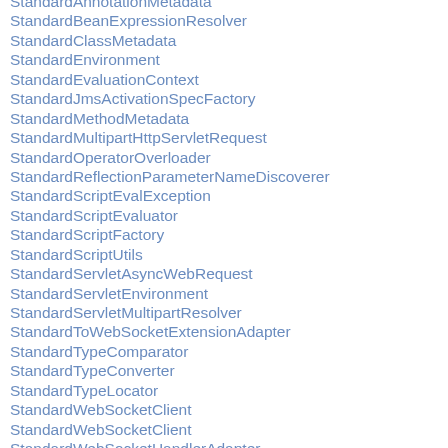StandardAnnotationMetadata
StandardBeanExpressionResolver
StandardClassMetadata
StandardEnvironment
StandardEvaluationContext
StandardJmsActivationSpecFactory
StandardMethodMetadata
StandardMultipartHttpServletRequest
StandardOperatorOverloader
StandardReflectionParameterNameDiscoverer
StandardScriptEvalException
StandardScriptEvaluator
StandardScriptFactory
StandardScriptUtils
StandardServletAsyncWebRequest
StandardServletEnvironment
StandardServletMultipartResolver
StandardToWebSocketExtensionAdapter
StandardTypeComparator
StandardTypeConverter
StandardTypeLocator
StandardWebSocketClient
StandardWebSocketClient
StandardWebSocketHandlerAdapter
StandardWebSocketHandlerAdapter
StandardWebSocketSession
StandardWebSocketSession
StatementCallback
StatementCreatorUtils